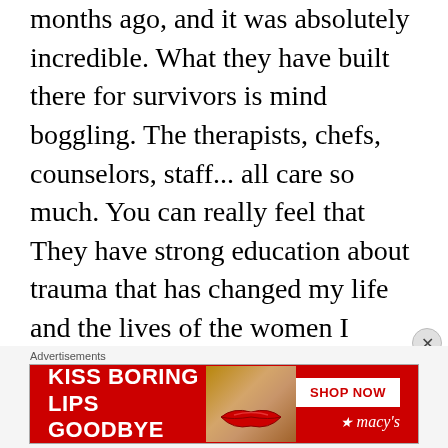months ago, and it was absolutely incredible. What they have built there for survivors is mind boggling. The therapists, chefs, counselors, staff... all care so much. You can really feel that They have strong education about trauma that has changed my life and the lives of the women I attended with. There is a 12 week course following the retreat, which really helped cement the strategies to deal with trauma that I learned
[Figure (infographic): Advertisement banner for Macy's lipstick promotion. Red background with white bold text 'KISS BORING LIPS GOODBYE', a woman's face/lips in center, and 'SHOP NOW' button with Macy's star logo on right.]